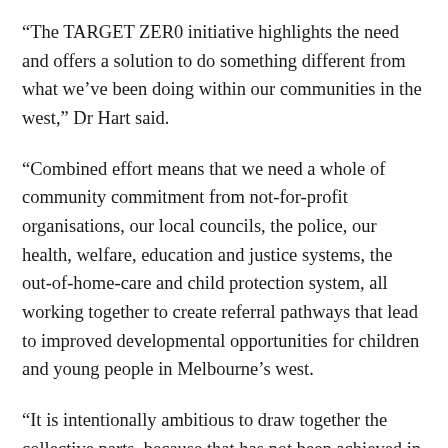“The TARGET ZER0 initiative highlights the need and offers a solution to do something different from what we’ve been doing within our communities in the west,” Dr Hart said.
“Combined effort means that we need a whole of community commitment from not-for-profit organisations, our local councils, the police, our health, welfare, education and justice systems, the out-of-home-care and child protection system, all working together to create referral pathways that lead to improved developmental opportunities for children and young people in Melbourne’s west.
“It is intentionally ambitious to draw together the collective parts, because that has not been achieved in Melbourne’s west and there are few if any examples of this type of initiative working elsewhere.”